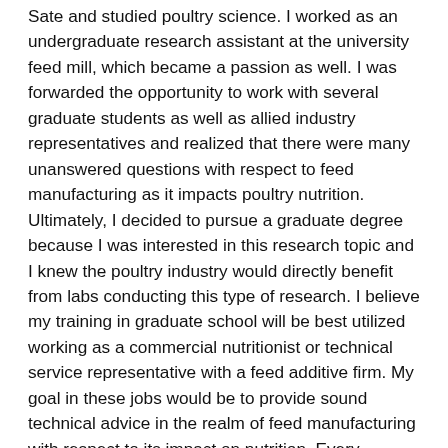Sate and studied poultry science. I worked as an undergraduate research assistant at the university feed mill, which became a passion as well. I was forwarded the opportunity to work with several graduate students as well as allied industry representatives and realized that there were many unanswered questions with respect to feed manufacturing as it impacts poultry nutrition. Ultimately, I decided to pursue a graduate degree because I was interested in this research topic and I knew the poultry industry would directly benefit from labs conducting this type of research. I believe my training in graduate school will be best utilized working as a commercial nutritionist or technical service representative with a feed additive firm. My goal in these jobs would be to provide sound technical advice in the realm of feed manufacturing with respect to its impact on nutrition. Every process of feed manufacturing can profoundly impact the efficiencies of our animals and I hope to use my knowledge to further elucidate the ways feed manufacturing decisions impact the efficiencies of production, and eventually the profitability of our industry. While this will take years of experience, I hope my interests will someday be of value to our industry so that we can